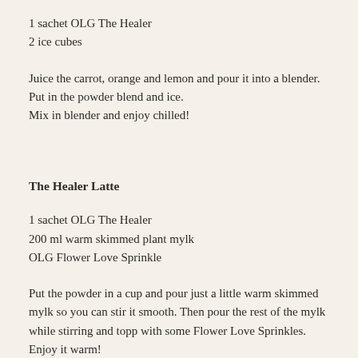1 sachet OLG The Healer
2 ice cubes
Juice the carrot, orange and lemon and pour it into a blender. Put in the powder blend and ice.
Mix in blender and enjoy chilled!
The Healer Latte
1 sachet OLG The Healer
200 ml warm skimmed plant mylk
OLG Flower Love Sprinkle
Put the powder in a cup and pour just a little warm skimmed mylk so you can stir it smooth. Then pour the rest of the mylk while stirring and topp with some Flower Love Sprinkles.
Enjoy it warm!